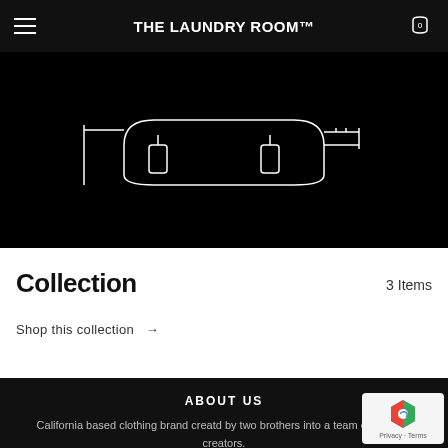THE LAUNDRY ROOM™
[Figure (illustration): White line drawing of a bag/belt accessory on black background]
Collection
3 Items
Shop this collection →
ABOUT US
California based clothing brand creatd by two brothers into a team of inspired creators.